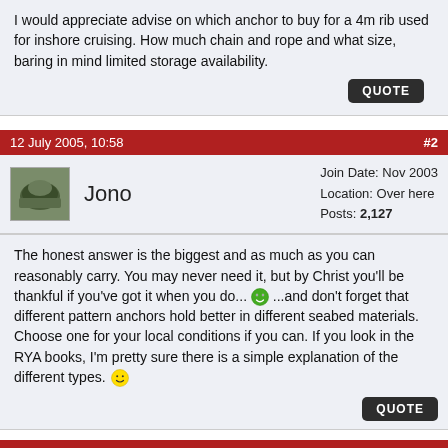I would appreciate advise on which anchor to buy for a 4m rib used for inshore cruising. How much chain and rope and what size, baring in mind limited storage availability.
QUOTE
12 July 2005, 10:58  #2
Jono  Join Date: Nov 2003  Location: Over here  Posts: 2,127
The honest answer is the biggest and as much as you can reasonably carry. You may never need it, but by Christ you'll be thankful if you've got it when you do... ...and don't forget that different pattern anchors hold better in different seabed materials. Choose one for your local conditions if you can. If you look in the RYA books, I'm pretty sure there is a simple explanation of the different types.
QUOTE
12 July 2005, 11:02  #3
Join Date: Jul 2003